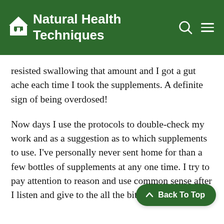Natural Health Techniques
resisted swallowing that amount and I got a gut ache each time I took the supplements. A definite sign of being overdosed!
Now days I use the protocols to double-check my work and as a suggestion as to which supplements to use. I’ve personally never sent home for than a few bottles of supplements at any one time. I try to pay attention to reason and use common sense after I listen and give to the all the bits of